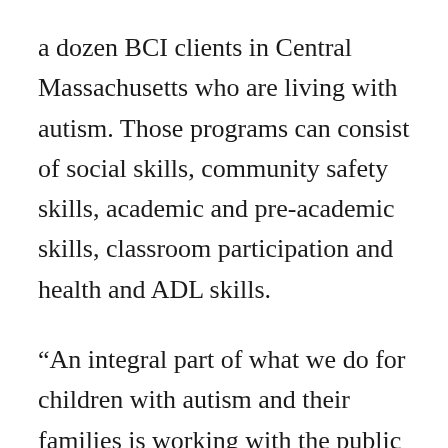a dozen BCI clients in Central Massachusetts who are living with autism. Those programs can consist of social skills, community safety skills, academic and pre-academic skills, classroom participation and health and ADL skills.
“An integral part of what we do for children with autism and their families is working with the public schools to find out what programs and trainings. Kristen’s six years with us and her background in working in a public school system give her the experience and a perspective that can truly